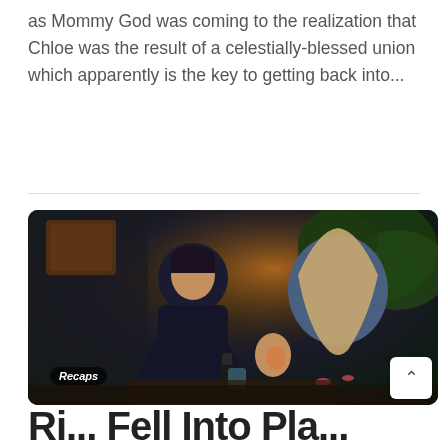as Mommy God was coming to the realization that Chloe was the result of a celestially-blessed union which apparently is the key to getting back into...
[Figure (photo): Two people sitting together, a man in a dark jacket pouring a drink, and a woman with long blonde hair facing away from the camera. Dark, moody outdoor setting with warm background lighting and plants. A 'Recaps' badge is overlaid in the bottom-left corner.]
Ri...  Fell Into Pla...